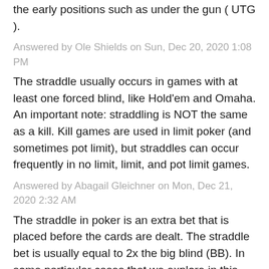the early positions such as under the gun ( UTG ).
Answered by Ole Shields on Sun, Dec 20, 2020 1:08 PM
The straddle usually occurs in games with at least one forced blind, like Hold'em and Omaha. An important note: straddling is NOT the same as a kill. Kill games are used in limit poker (and sometimes pot limit), but straddles can occur frequently in no limit, limit, and pot limit games.
Answered by Abagail Gleichner on Mon, Dec 21, 2020 2:32 AM
The straddle in poker is an extra bet that is placed before the cards are dealt. The straddle bet is usually equal to 2x the big blind (BB). In some particular cases that we explore in this...
Answered by Milford Belfor... Tue, Dec 8, 2020